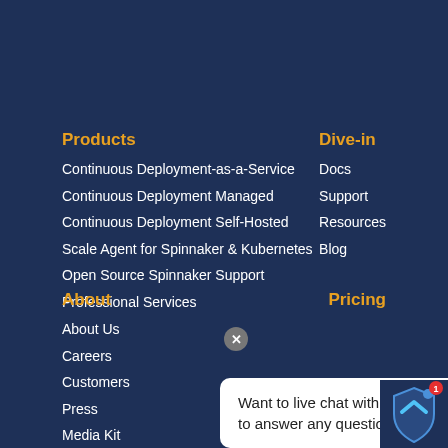Products
Continuous Deployment-as-a-Service
Continuous Deployment Managed
Continuous Deployment Self-Hosted
Scale Agent for Spinnaker & Kubernetes
Open Source Spinnaker Support
Professional Services
Dive-in
Docs
Support
Resources
Blog
About
About Us
Careers
Customers
Press
Media Kit
Pricing
Want to live chat with an expert to answer any questions?